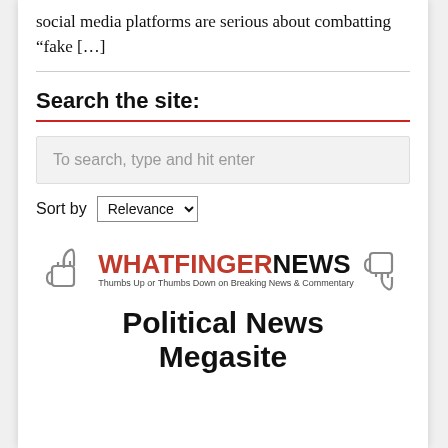social media platforms are serious about combatting “fake […]
Search the site:
[Figure (screenshot): Search input box with placeholder text: To search, type and hit enter]
Sort by Relevance
[Figure (logo): Whatfinger News logo with thumbs up and thumbs down icons. Text reads: WHATFINGERNEWS - Thumbs Up or Thumbs Down on Breaking News & Commentary]
Political News
Megasite